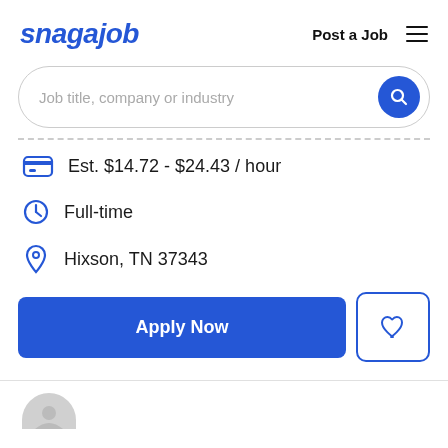[Figure (logo): Snagajob logo in blue bold italic text]
Post a Job
[Figure (other): Hamburger menu icon (three horizontal lines)]
Job title, company or industry
Est. $14.72 - $24.43 / hour
Full-time
Hixson, TN 37343
Apply Now